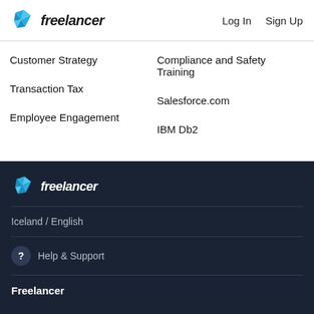freelancer  Log In  Sign Up
Customer Strategy
Compliance and Safety Training
Transaction Tax
Salesforce.com
Employee Engagement
IBM Db2
freelancer  Iceland / English  Help & Support  Freelancer